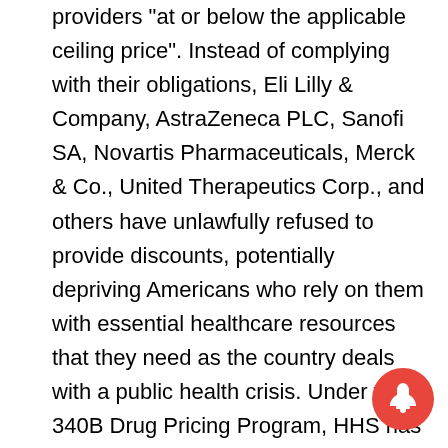providers "at or below the applicable ceiling price". Instead of complying with their obligations, Eli Lilly & Company, AstraZeneca PLC, Sanofi SA, Novartis Pharmaceuticals, Merck & Co., United Therapeutics Corp., and others have unlawfully refused to provide discounts, potentially depriving Americans who rely on them with essential healthcare resources that they need as the country deals with a public health crisis. Under the 340B Drug Pricing Program, HHS has the authority to address violations of the program by drug manufacturers. For example, HHS may require manufacturers to reimburse covered healthcare centers and/or terminate manufacturers' PPAs. While HHS has recently published regulations establishing
[Figure (other): Notification bell icon overlay in bottom-right corner]